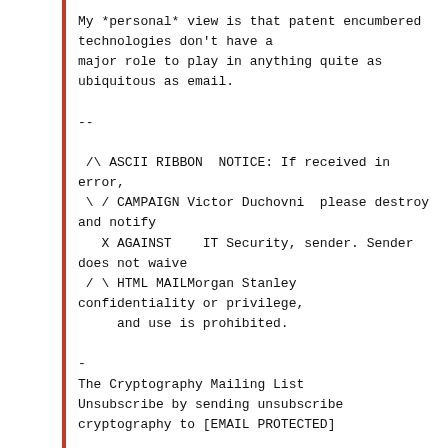My *personal* view is that patent encumbered technologies don't have a major role to play in anything quite as ubiquitous as email.

--

 /\ ASCII RIBBON  NOTICE: If received in error,
  \ / CAMPAIGN Victor Duchovni  please destroy and notify
    X AGAINST    IT Security, sender. Sender does not waive
  / \ HTML MAILMorgan Stanley confidentiality or privilege,
       and use is prohibited.

-
The Cryptography Mailing List
Unsubscribe by sending unsubscribe cryptography to [EMAIL PROTECTED]